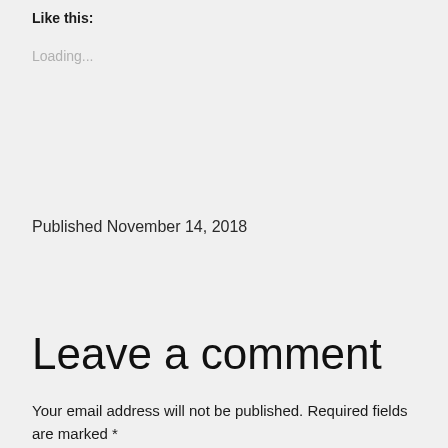Like this:
Loading...
Published November 14, 2018
Leave a comment
Your email address will not be published. Required fields are marked *